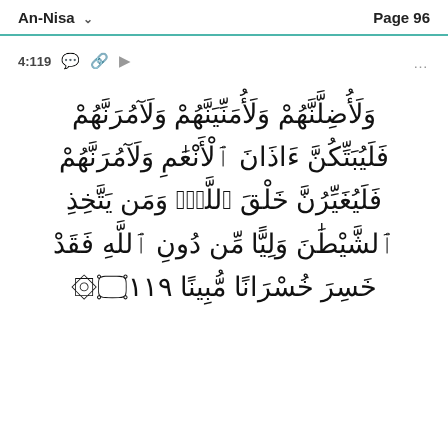An-Nisa  Page 96
4:119
وَلَأُضِلَّنَّهُمْ وَلَأُمَنِّيَنَّهُمْ وَلَآمُرَنَّهُمْ فَلَيُبَتِّكُنَّ ءَاذَانَ ٱلْأَنْعَٰمِ وَلَآمُرَنَّهُمْ فَلَيُغَيِّرُنَّ خَلْقَ ٱللَّهِۚ وَمَن يَتَّخِذِ ٱلشَّيْطَٰنَ وَلِيًّا مِّن دُونِ ٱللَّهِ فَقَدْ خَسِرَ خُسْرَانًا مُّبِينًا ۝١١٩